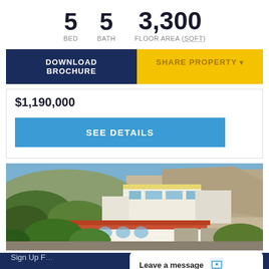5 BED   5 BATH   3,300 FLOOR AREA (SQFT)
DOWNLOAD BROCHURE
SHARE PROPERTY
$1,190,000
SEE DETAILS
[Figure (photo): Exterior view of a multi-level hillside residential property with terracotta roofs, white walls, and lush tropical vegetation in the foreground and rocky hillside in the background.]
Sign Up F...
Leave a message